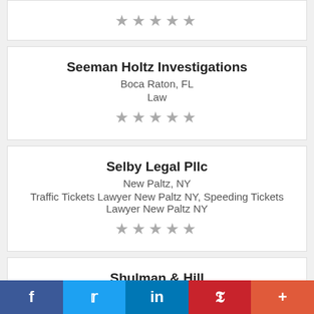[Figure (other): Star rating row (5 grey stars) for previous listing]
Seeman Holtz Investigations
Boca Raton, FL
Law
[Figure (other): Star rating row (5 grey stars) for Seeman Holtz Investigations]
Selby Legal Pllc
New Paltz, NY
Traffic Tickets Lawyer New Paltz NY, Speeding Tickets Lawyer New Paltz NY
[Figure (other): Star rating row (5 grey stars) for Selby Legal Pllc]
Shulman & Hill
New York City, NY
Every case is personal to us. Handling your
f  🐦  in  p  +